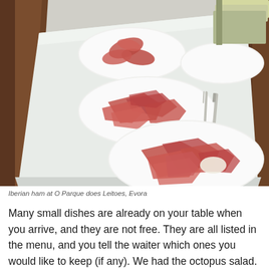[Figure (photo): Photo of plates of thinly sliced Iberian ham (jamón) arranged on a white tablecloth at O Parque does Leitoes restaurant in Evora. Three white plates with pink-red cured ham slices are visible on the table, along with a knife and fork. Wood furniture visible on the sides.]
Iberian ham at O Parque does Leitoes, Evora
Many small dishes are already on your table when you arrive, and they are not free. They are all listed in the menu, and you tell the waiter which ones you would like to keep (if any). We had the octopus salad. Given the level of white tablecloth fanciness, it felt like ordering wine with lunch was the right